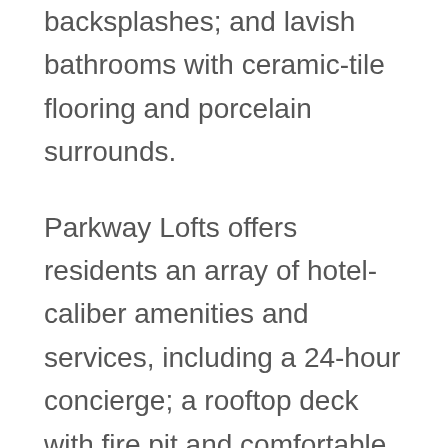backsplashes; and lavish bathrooms with ceramic-tile flooring and porcelain surrounds.
Parkway Lofts offers residents an array of hotel-caliber amenities and services, including a 24-hour concierge; a rooftop deck with fire pit and comfortable seating; a 5,000-square-foot, two-level state-of-the-art fitness center; a 20-seat large-screen theater room; a private party and billiards room with a 14-foot bar, televisions and tufted banquettes; and a dog run. An on-site 24-hour resident-only convenience store is stocked with grocery basics such as milk, juice, bread, eggs, soda, fresh sandwiches